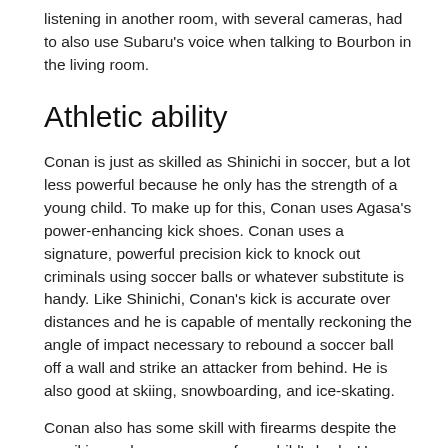listening in another room, with several cameras, had to also use Subaru's voice when talking to Bourbon in the living room.
Athletic ability
Conan is just as skilled as Shinichi in soccer, but a lot less powerful because he only has the strength of a young child. To make up for this, Conan uses Agasa's power-enhancing kick shoes. Conan uses a signature, powerful precision kick to knock out criminals using soccer balls or whatever substitute is handy. Like Shinichi, Conan's kick is accurate over distances and he is capable of mentally reckoning the angle of impact necessary to rebound a soccer ball off a wall and strike an attacker from behind. He is also good at skiing, snowboarding, and ice-skating.
Conan also has some skill with firearms despite the recoil is much more severe for a child's body. He shoots out a bus window during a bus hijacking and precisely grazes Ran's leg to render her useless as a hostage in the second movie.
Conan's nimbleness is especially noticeable in the non-